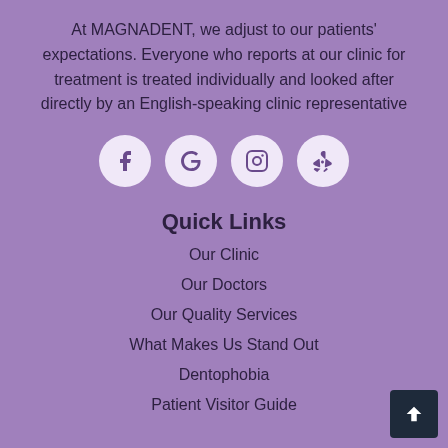At MAGNADENT, we adjust to our patients' expectations. Everyone who reports at our clinic for treatment is treated individually and looked after directly by an English-speaking clinic representative
[Figure (other): Four social media icon buttons in white circles: Facebook, Google, Instagram, Yelp]
Quick Links
Our Clinic
Our Doctors
Our Quality Services
What Makes Us Stand Out
Dentophobia
Patient Visitor Guide